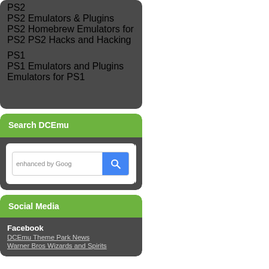PS2
PS2 Emulators & Plugins
PS2 Homebrew
Emulators for PS2
PS2 Hacks and Hacking
PS1
PS1 Emulators and Plugins
Emulators for PS1
Search DCEmu
[Figure (screenshot): Google-enhanced search box with search button]
Social Media
Facebook
DCEmu Theme Park News
Warner Bros Wizards and Spirits